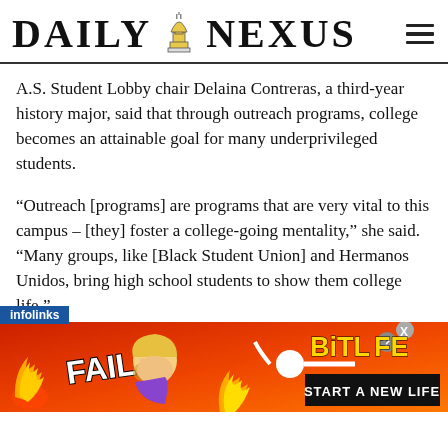DAILY NEXUS
A.S. Student Lobby chair Delaina Contreras, a third-year history major, said that through outreach programs, college becomes an attainable goal for many underprivileged students.
“Outreach [programs] are programs that are very vital to this campus – [they] foster a college-going mentality,” she said. “Many groups, like [Black Student Union] and Hermanos Unidos, bring high school students to show them college life.”
[Figure (other): Advertisement banner for BitLife game showing FAIL text with animated character, fire imagery, and START A NEW LIFE call to action with infolinks label]